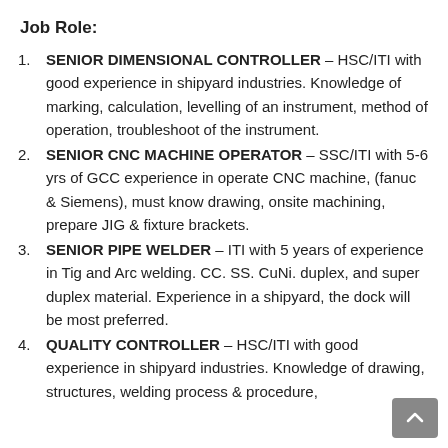Job Role:
SENIOR DIMENSIONAL CONTROLLER – HSC/ITI with good experience in shipyard industries. Knowledge of marking, calculation, levelling of an instrument, method of operation, troubleshoot of the instrument.
SENIOR CNC MACHINE OPERATOR – SSC/ITI with 5-6 yrs of GCC experience in operate CNC machine, (fanuc & Siemens), must know drawing, onsite machining, prepare JIG & fixture brackets.
SENIOR PIPE WELDER – ITI with 5 years of experience in Tig and Arc welding. CC. SS. CuNi. duplex, and super duplex material. Experience in a shipyard, the dock will be most preferred.
QUALITY CONTROLLER – HSC/ITI with good experience in shipyard industries. Knowledge of drawing, structures, welding process & procedure,